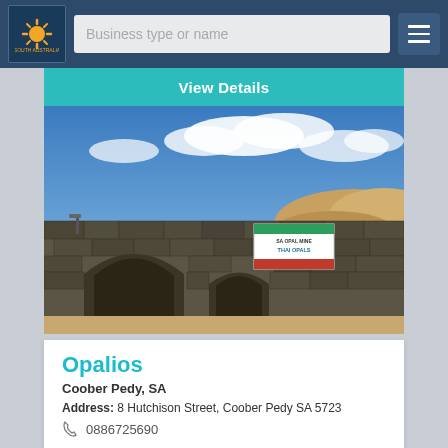Business type or name
View Details
[Figure (photo): Stone archway building with arched doorways, a sign reading SA OPAL MINE THAI OPALS, and a blue sky with clouds and sandy mounds in the background. Opalios store in Coober Pedy, SA.]
Opalios
Coober Pedy, SA
Address: 8 Hutchison Street, Coober Pedy SA 5723
0886725690